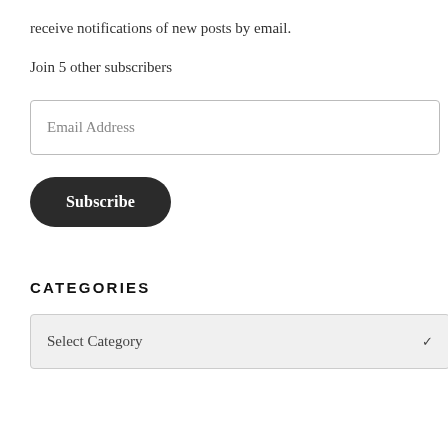receive notifications of new posts by email.
Join 5 other subscribers
Email Address
Subscribe
CATEGORIES
Select Category